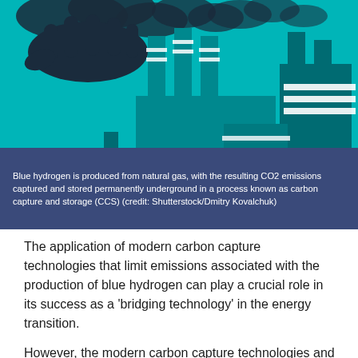[Figure (illustration): Industrial illustration showing factory smokestacks with smoke/emissions on a teal/cyan background, with a dark silhouetted hand reaching from the left side. The image depicts carbon capture themes with stylized factory chimneys and emission stacks.]
Blue hydrogen is produced from natural gas, with the resulting CO2 emissions captured and stored permanently underground in a process known as carbon capture and storage (CCS) (credit: Shutterstock/Dmitry Kovalchuk)
The application of modern carbon capture technologies that limit emissions associated with the production of blue hydrogen can play a crucial role in its success as a 'bridging technology' in the energy transition.
However, the modern carbon capture technologies and...